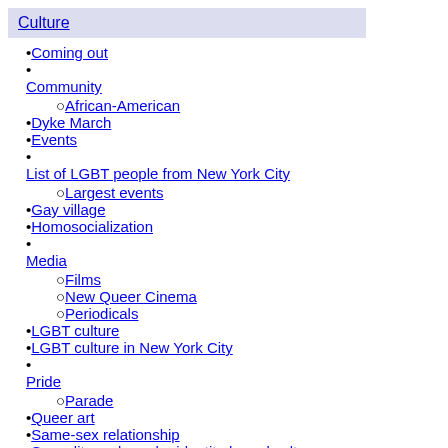Culture
Coming out
Community
African-American
Dyke March
Events
List of LGBT people from New York City
Largest events
Gay village
Homosocialization
Media
Films
New Queer Cinema
Periodicals
LGBT culture
LGBT culture in New York City
Pride
Parade
Queer art
Same-sex relationship
Sexuality and gender identity-based cultures
Slang
list